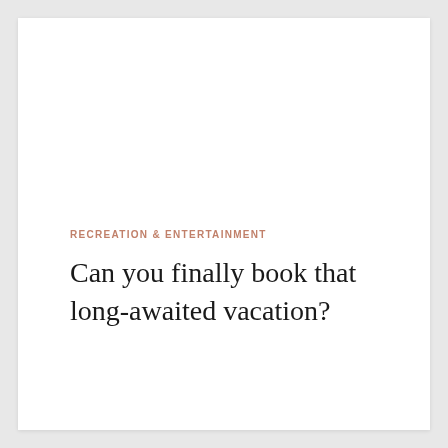RECREATION & ENTERTAINMENT
Can you finally book that long-awaited vacation?